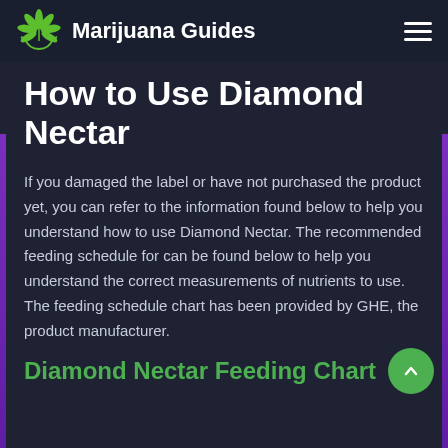Marijuana Guides
How to Use Diamond Nectar
If you damaged the label or have not purchased the product yet, you can refer to the information found below to help you understand how to use Diamond Nectar. The recommended feeding schedule for can be found below to help you understand the correct measurements of nutrients to use. The feeding schedule chart has been provided by GHE, the product manufacturer.
Diamond Nectar Feeding Chart